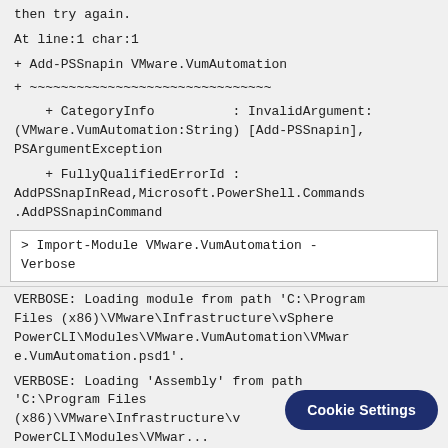then try again.
At line:1 char:1
+ Add-PSSnapin VMware.VumAutomation
+ ~~~~~~~~~~~~~~~~~~~~~~~~~~~~~~~
+ CategoryInfo          : InvalidArgument: (VMware.VumAutomation:String) [Add-PSSnapin], PSArgumentException
+ FullyQualifiedErrorId : AddPSSnapInRead,Microsoft.PowerShell.Commands.AddPSSnapinCommand
> Import-Module VMware.VumAutomation -Verbose
VERBOSE: Loading module from path 'C:\Program Files (x86)\VMware\Infrastructure\vSphere PowerCLI\Modules\VMware.VumAutomation\VMware.VumAutomation.psd1'.
VERBOSE: Loading 'Assembly' from path 'C:\Program Files (x86)\VMware\Infrastructure\v... PowerCLI\Modules\VMwar...